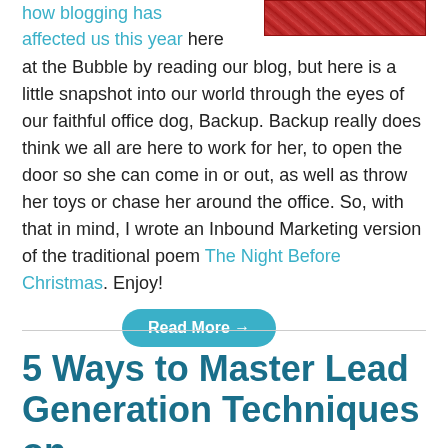how blogging has affected us this year here at the Bubble by reading our blog, but here is a little snapshot into our world through the eyes of our faithful office dog, Backup. Backup really does think we all are here to work for her, to open the door so she can come in or out, as well as throw her toys or chase her around the office. So, with that in mind, I wrote an Inbound Marketing version of the traditional poem The Night Before Christmas. Enjoy!
[Figure (photo): Red textured image, appears to be a decorative photo in the top right corner]
Read More →
5 Ways to Master Lead Generation Techniques on